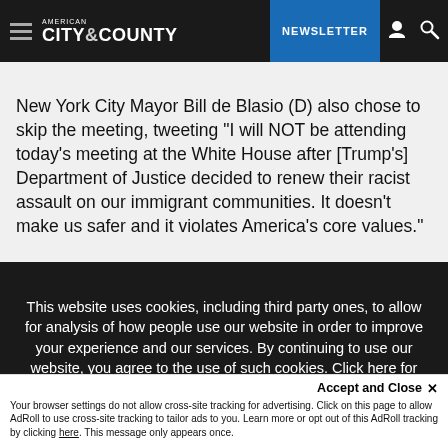AMERICAN CITY & COUNTY — NEWSLETTER
New York City Mayor Bill de Blasio (D) also chose to skip the meeting, tweeting "I will NOT be attending today's meeting at the White House after [Trump's] Department of Justice decided to renew their racist assault on our immigrant communities. It doesn't make us safer and it violates America's core values."
This website uses cookies, including third party ones, to allow for analysis of how people use our website in order to improve your experience and our services. By continuing to use our website, you agree to the use of such cookies. Click here for more information on our Cookie Policy and Privacy Policy.
Accept and Close ✕
Your browser settings do not allow cross-site tracking for advertising. Click on this page to allow AdRoll to use cross-site tracking to tailor ads to you. Learn more or opt out of this AdRoll tracking by clicking here. This message only appears once.